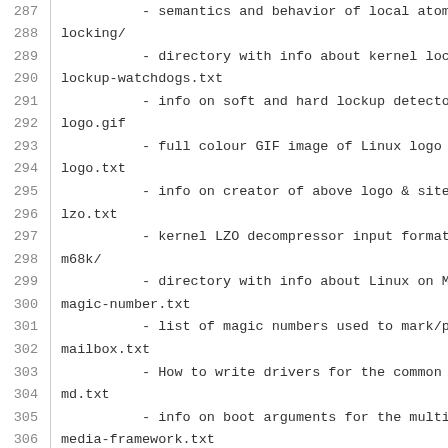287    - semantics and behavior of local atomic
288 locking/
289         - directory with info about kernel lock
290 lockup-watchdogs.txt
291         - info on soft and hard lockup detectors
292 logo.gif
293         - full colour GIF image of Linux logo (p
294 logo.txt
295         - info on creator of above logo & site
296 lzo.txt
297         - kernel LZO decompressor input formats
298 m68k/
299         - directory with info about Linux on Mo
300 magic-number.txt
301         - list of magic numbers used to mark/pr
302 mailbox.txt
303         - How to write drivers for the common ma
304 md.txt
305         - info on boot arguments for the multip
306 media-framework.txt
307         - info on media framework, its data stre